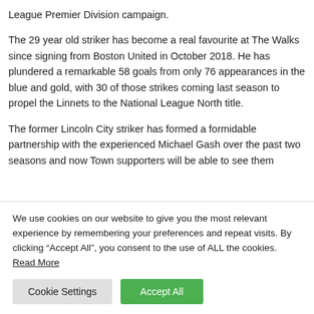League Premier Division campaign.
The 29 year old striker has become a real favourite at The Walks since signing from Boston United in October 2018. He has plundered a remarkable 58 goals from only 76 appearances in the blue and gold, with 30 of those strikes coming last season to propel the Linnets to the National League North title.
The former Lincoln City striker has formed a formidable partnership with the experienced Michael Gash over the past two seasons and now Town supporters will be able to see them
We use cookies on our website to give you the most relevant experience by remembering your preferences and repeat visits. By clicking “Accept All”, you consent to the use of ALL the cookies. Read More
Cookie Settings
Accept All